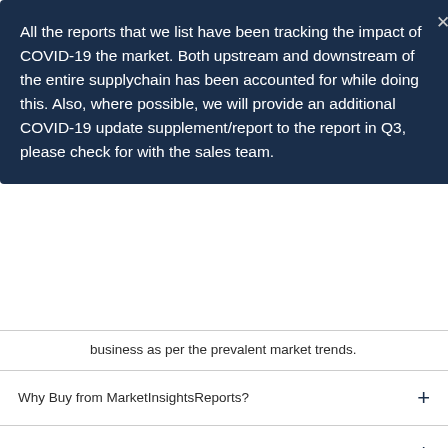All the reports that we list have been tracking the impact of COVID-19 the market. Both upstream and downstream of the entire supplychain has been accounted for while doing this. Also, where possible, we will provide an additional COVID-19 update supplement/report to the report in Q3, please check for with the sales team.
business as per the prevalent market trends.
Why Buy from MarketInsightsReports?
Who need to buy a research report?
How is research report made?
What Type of Reports does MarketInsightsReports provide?